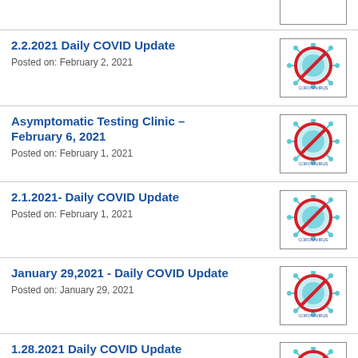[Figure (illustration): Partial coronavirus no-entry icon at top of page]
2.2.2021 Daily COVID Update
Posted on: February 2, 2021
[Figure (illustration): Coronavirus no-entry icon]
Asymptomatic Testing Clinic – February 6, 2021
Posted on: February 1, 2021
[Figure (illustration): Coronavirus no-entry icon]
2.1.2021- Daily COVID Update
Posted on: February 1, 2021
[Figure (illustration): Coronavirus no-entry icon]
January 29,2021 - Daily COVID Update
Posted on: January 29, 2021
[Figure (illustration): Coronavirus no-entry icon]
1.28.2021 Daily COVID Update
Posted on: January 28, 2021
[Figure (illustration): Coronavirus no-entry icon with accessibility button overlay]